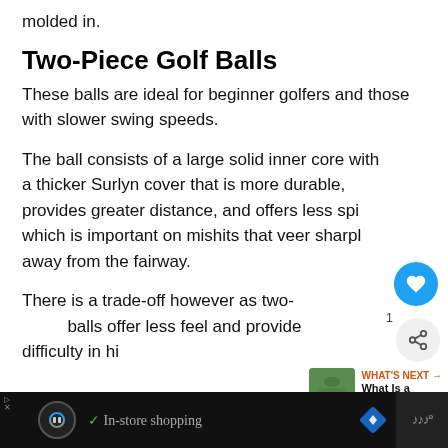molded in.
Two-Piece Golf Balls
These balls are ideal for beginner golfers and those with slower swing speeds.
The ball consists of a large solid inner core with a thicker Surlyn cover that is more durable, provides greater distance, and offers less spi which is important on mishits that veer sharpl away from the fairway.
There is a trade-off however as two- balls offer less feel and provide difficulty in hitti...